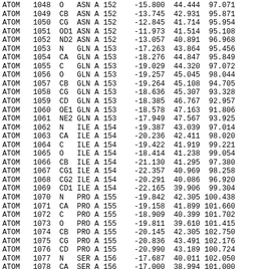| Record | Serial | Name | ResName | Chain | ResSeq | X | Y | Z | ... |
| --- | --- | --- | --- | --- | --- | --- | --- | --- | --- |
| ATOM | 1048 | O | ASN | A | 152 | -15.800 | 44.444 | 97.071 |  |
| ATOM | 1049 | CB | ASN | A | 152 | -13.745 | 42.931 | 95.871 |  |
| ATOM | 1050 | CG | ASN | A | 152 | -12.845 | 41.714 | 95.954 |  |
| ATOM | 1051 | OD1 | ASN | A | 152 | -11.973 | 41.514 | 95.108 |  |
| ATOM | 1052 | ND2 | ASN | A | 152 | -13.057 | 40.891 | 96.968 |  |
| ATOM | 1053 | N | GLN | A | 153 | -17.263 | 43.864 | 95.456 |  |
| ATOM | 1054 | CA | GLN | A | 153 | -18.276 | 44.847 | 95.849 |  |
| ATOM | 1055 | C | GLN | A | 153 | -19.029 | 44.320 | 97.072 |  |
| ATOM | 1056 | O | GLN | A | 153 | -19.257 | 45.045 | 98.044 |  |
| ATOM | 1057 | CB | GLN | A | 153 | -19.264 | 45.108 | 94.705 |  |
| ATOM | 1058 | CG | GLN | A | 153 | -18.636 | 45.307 | 93.328 |  |
| ATOM | 1059 | CD | GLN | A | 153 | -18.385 | 46.767 | 92.957 |  |
| ATOM | 1060 | OE1 | GLN | A | 153 | -18.578 | 47.163 | 91.806 |  |
| ATOM | 1061 | NE2 | GLN | A | 153 | -17.949 | 47.567 | 93.925 |  |
| ATOM | 1062 | N | ILE | A | 154 | -19.387 | 43.039 | 97.014 |  |
| ATOM | 1063 | CA | ILE | A | 154 | -20.236 | 42.411 | 98.020 |  |
| ATOM | 1064 | C | ILE | A | 154 | -19.422 | 41.919 | 99.221 |  |
| ATOM | 1065 | O | ILE | A | 154 | -18.414 | 41.238 | 99.054 |  |
| ATOM | 1066 | CB | ILE | A | 154 | -21.130 | 41.295 | 97.380 |  |
| ATOM | 1067 | CG1 | ILE | A | 154 | -22.357 | 40.969 | 98.258 |  |
| ATOM | 1068 | CG2 | ILE | A | 154 | -20.291 | 40.086 | 96.920 |  |
| ATOM | 1069 | CD1 | ILE | A | 154 | -22.165 | 39.906 | 99.304 |  |
| ATOM | 1070 | N | PRO | A | 155 | -19.842 | 42.305 | 100.438 |  |
| ATOM | 1071 | CA | PRO | A | 155 | -19.158 | 41.899 | 101.660 |  |
| ATOM | 1072 | C | PRO | A | 155 | -18.909 | 40.399 | 101.702 |  |
| ATOM | 1073 | O | PRO | A | 155 | -19.811 | 39.610 | 101.415 |  |
| ATOM | 1074 | CB | PRO | A | 155 | -20.145 | 42.305 | 102.750 |  |
| ATOM | 1075 | CG | PRO | A | 155 | -20.836 | 43.491 | 102.176 |  |
| ATOM | 1076 | CD | PRO | A | 155 | -20.990 | 43.189 | 100.724 |  |
| ATOM | 1077 | N | SER | A | 156 | -17.687 | 40.011 | 102.050 |  |
| ATOM | 1078 | CA | SER | A | 156 | -17.000 | 38.994 | 101.000 |  |